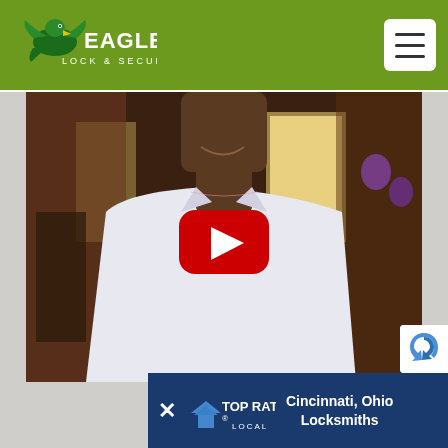[Figure (logo): Eagle's Lock & Security logo with eagle graphic on green header bar]
[Figure (screenshot): Video thumbnail showing a man in a white shirt in an indoor setting with YouTube play button overlay]
[Figure (infographic): Top Rated Local banner at bottom with close button, badge, and Cincinnati Ohio Locksmiths text]